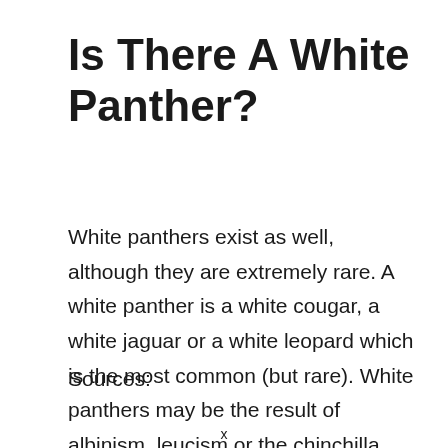Is There A White Panther?
White panthers exist as well, although they are extremely rare. A white panther is a white cougar, a white jaguar or a white leopard which is the most common (but rare). White panthers may be the result of albinism, leucism or the chinchilla mutation.
Sources:
x